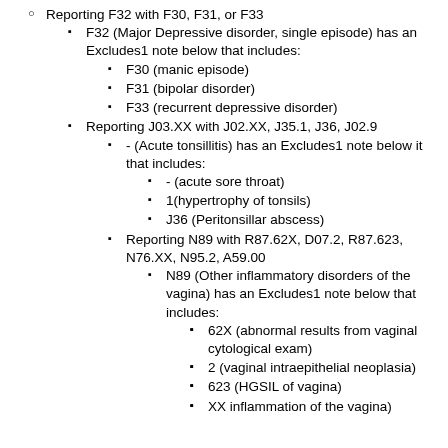Reporting F32 with F30, F31, or F33
F32 (Major Depressive disorder, single episode) has an Excludes1 note below that includes:
F30 (manic episode)
F31 (bipolar disorder)
F33 (recurrent depressive disorder)
Reporting J03.XX with J02.XX, J35.1, J36, J02.9
- (Acute tonsillitis) has an Excludes1 note below it that includes:
- (acute sore throat)
1(hypertrophy of tonsils)
J36 (Peritonsillar abscess)
Reporting N89 with R87.62X, D07.2, R87.623, N76.XX, N95.2, A59.00
N89 (Other inflammatory disorders of the vagina) has an Excludes1 note below that includes:
62X (abnormal results from vaginal cytological exam)
2 (vaginal intraepithelial neoplasia)
623 (HGSIL of vagina)
XX inflammation of the vagina)